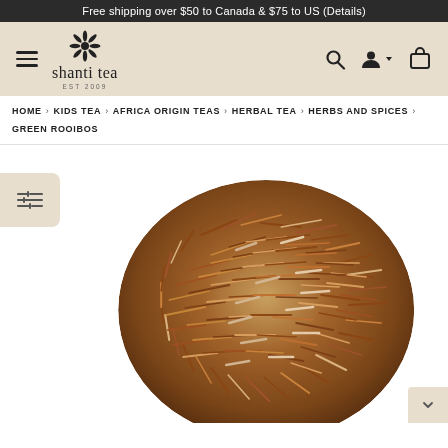Free shipping over $50 to Canada & $75 to US (Details)
[Figure (logo): Shanti Tea logo with flower/snowflake icon and text 'shanti tea EST 2009']
HOME > KIDS TEA > AFRICA ORIGIN TEAS > HERBAL TEA > HERBS AND SPICES > GREEN ROOIBOS
[Figure (photo): Overhead view of green rooibos loose leaf tea in a circular pile on white background]